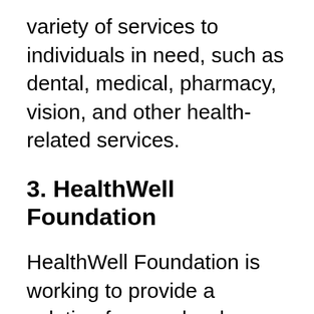variety of services to individuals in need, such as dental, medical, pharmacy, vision, and other health-related services.
3. HealthWell Foundation
HealthWell Foundation is working to provide a solution for people who need assistance paying their costs. This non-profit organization assists uninsured individuals and families with medical expenditures. Programs